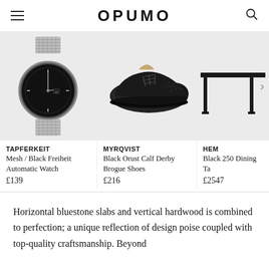OPUMO
[Figure (photo): Black dial Tapferkeit watch with mesh bracelet on grey background]
[Figure (photo): Myrqvist Black Orust Calf Derby Brogue Shoes on light grey background]
[Figure (photo): HEM Black 250 Dining Table partially visible on grey background]
TAPFERKEIT
Mesh / Black Freiheit Automatic Watch
£139
MYRQVIST
Black Orust Calf Derby Brogue Shoes
£216
HEM
Black 250 Dining Ta...
£2547
Horizontal bluestone slabs and vertical hardwood is combined to perfection; a unique reflection of design poise coupled with top-quality craftsmanship. Beyond